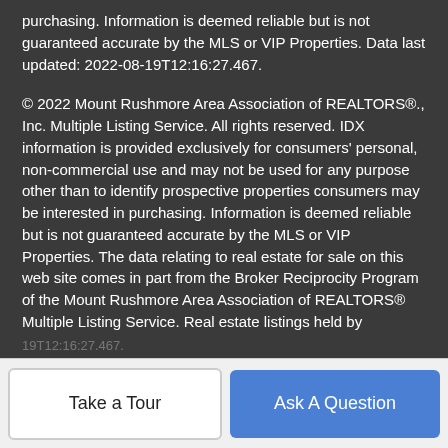purchasing. Information is deemed reliable but is not guaranteed accurate by the MLS or VIP Properties. Data last updated: 2022-08-19T12:16:27.467.
© 2022 Mount Rushmore Area Association of REALTORS®., Inc. Multiple Listing Service. All rights reserved. IDX information is provided exclusively for consumers' personal, non-commercial use and may not be used for any purpose other than to identify prospective properties consumers may be interested in purchasing. Information is deemed reliable but is not guaranteed accurate by the MLS or VIP Properties. The data relating to real estate for sale on this web site comes in part from the Broker Reciprocity Program of the Mount Rushmore Area Association of REALTORS® Multiple Listing Service. Real estate listings held by brokerage firms other than VIP Properties are marked with the Broker Reciprocity™ logo or the Broker Reciprocity thumbnail logo (a little black house) and detailed information about them includes the name of the listing brokers. Data last updated: 2022-08-
(partially visible, obscured)
Take a Tour
Ask A Question